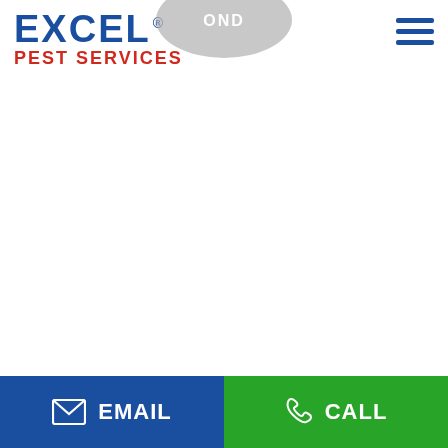[Figure (logo): Excel Pest Services logo: EXCEL in large dark blue bold text with registered trademark symbol, PEST SERVICES in red bold text below]
[Figure (illustration): Hamburger/menu icon in dark blue — three horizontal lines stacked, top-right corner]
[Figure (illustration): Partial grey oval/wing decorative shape partially visible at top center of page, with text 'OND' visible in white]
[Figure (screenshot): Large white empty content area in the center of the page]
[Figure (infographic): Bottom CTA bar split into two halves: left blue EMAIL button with envelope icon, right green CALL button with phone icon]